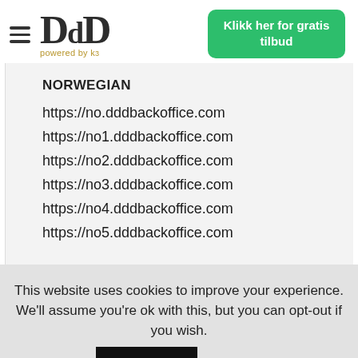[Figure (logo): DdD logo with 'powered by k3' tagline in gold, hamburger menu icon on the left]
[Figure (other): Green CTA button reading 'Klikk her for gratis tilbud']
NORWEGIAN
https://no.dddbackoffice.com
https://no1.dddbackoffice.com
https://no2.dddbackoffice.com
https://no3.dddbackoffice.com
https://no4.dddbackoffice.com
https://no5.dddbackoffice.com
This website uses cookies to improve your experience. We'll assume you're ok with this, but you can opt-out if you wish. Accept Les mer